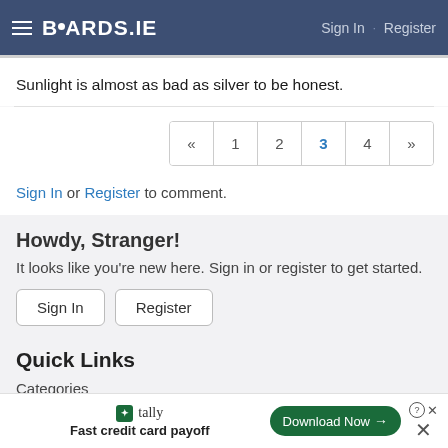BOARDS.IE  Sign In · Register
Sunlight is almost as bad as silver to be honest.
« 1 2 3 4 »
Sign In or Register to comment.
Howdy, Stranger!
It looks like you're new here. Sign in or register to get started.
Sign In  Register
Quick Links
Categories
Recent Discussions
tally  Fast credit card payoff  Download Now →